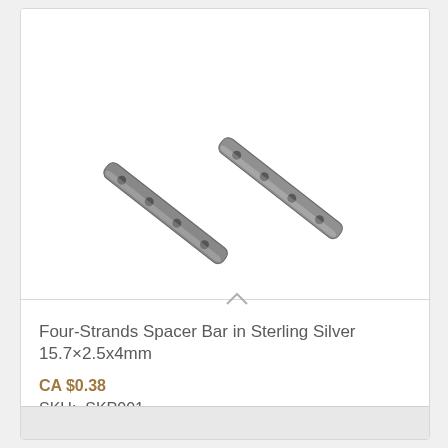[Figure (photo): Two sterling silver four-strand spacer bars shown diagonally, metallic grey color with four holes each, positioned against a white background.]
Four-Strands Spacer Bar in Sterling Silver 15.7×2.5x4mm
CA $0.38
SKU:  SKP001